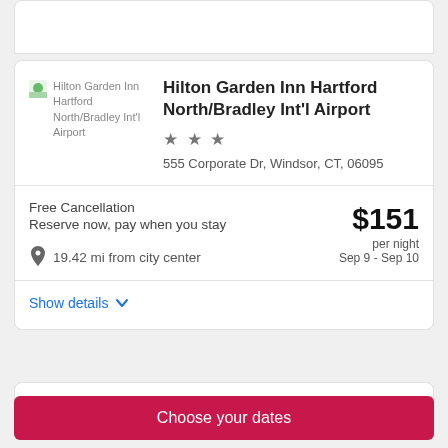Hilton Garden Inn Hartford North/Bradley Int'l Airport
555 Corporate Dr, Windsor, CT, 06095
Free Cancellation
Reserve now, pay when you stay
19.42 mi from city center
$151 per night
Sep 9 - Sep 10
Show details
Choose your dates